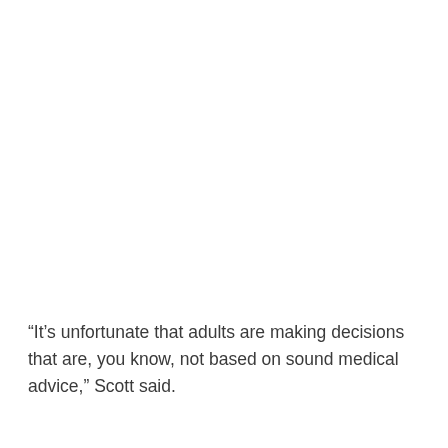“It’s unfortunate that adults are making decisions that are, you know, not based on sound medical advice,” Scott said.